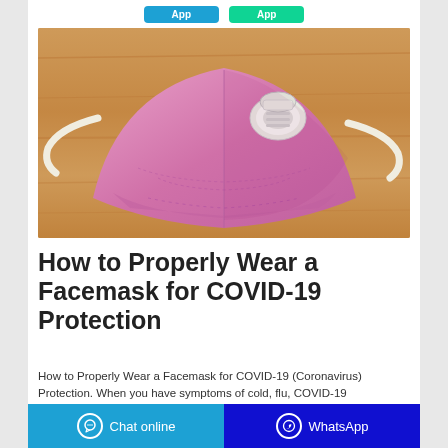[Figure (photo): A pink N95-style protective facemask with white valve and elastic straps, photographed on a wooden surface.]
How to Properly Wear a Facemask for COVID-19 Protection
How to Properly Wear a Facemask for COVID-19 (Coronavirus) Protection. When you have symptoms of cold, flu, COVID-19 (coronavirus) or other viruses and infections, properly wearing a surgical facemask can help protect others from getting sick.
Chat online | WhatsApp